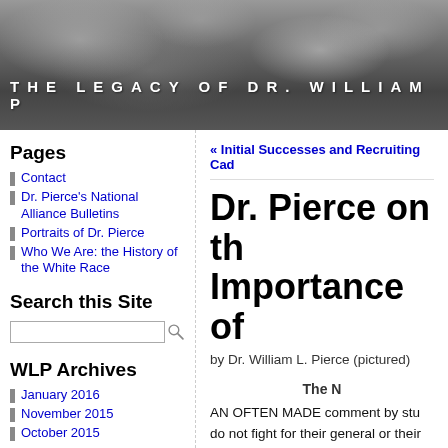[Figure (photo): Dark stormy clouds background with website banner header showing 'THE LEGACY OF DR. WILLIAM P' in white bold spaced letters]
Pages
Contact
Dr. Pierce's National Alliance Bulletins
Portraits of Dr. Pierce
Who We Are: the History of the White Race
Search this Site
WLP Archives
January 2016
November 2015
October 2015
« Initial Successes and Recruiting Cad
Dr. Pierce on th Importance of
by Dr. William L. Pierce (pictured)
The N
AN OFTEN MADE comment by stu do not fight for their general or their